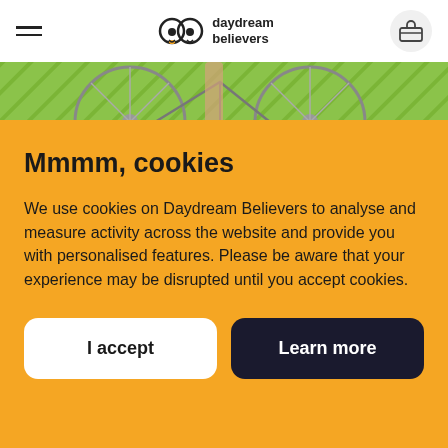daydream believers
[Figure (photo): Partial view of a bicycle wheel and frame on a green patterned background]
Mmmm, cookies
We use cookies on Daydream Believers to analyse and measure activity across the website and provide you with personalised features. Please be aware that your experience may be disrupted until you accept cookies.
I accept
Learn more